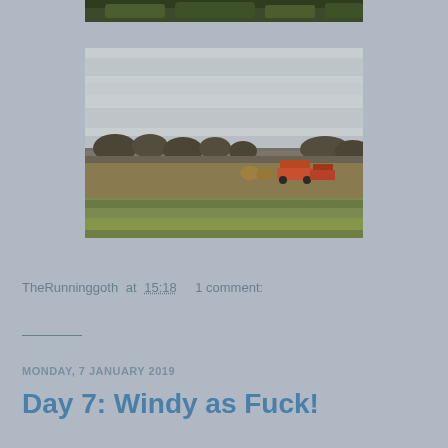[Figure (photo): Partial top of a photo showing green foliage/trees, cropped at top of page]
[Figure (photo): Landscape photo of a wide open field with dry grass, overcast grey sky, bare trees in background, farm equipment visible in middle distance]
TheRunninggoth at 15:18    1 comment:
Share
MONDAY, 7 JANUARY 2019
Day 7: Windy as Fuck!